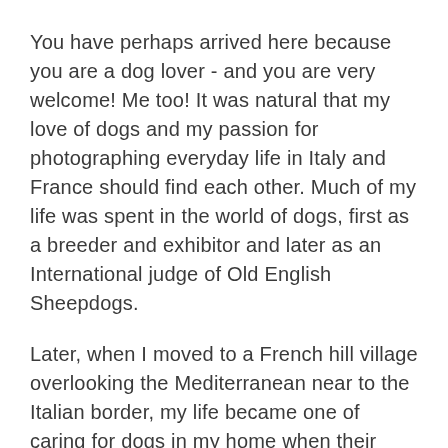You have perhaps arrived here because you are a dog lover - and you are very welcome! Me too! It was natural that my love of dogs and my passion for photographing everyday life in Italy and France should find each other. Much of my life was spent in the world of dogs, first as a breeder and exhibitor and later as an International judge of Old English Sheepdogs.
Later, when I moved to a French hill village overlooking the Mediterranean near to the Italian border, my life became one of caring for dogs in my home when their humans went away, something I love to do. But I've also been blessed to be able to give a forever home to a string of unwanted and abused dogs - I'm always drawn to the oldies so it's no wonder they get to the sofa first! We rescue them but really it is they